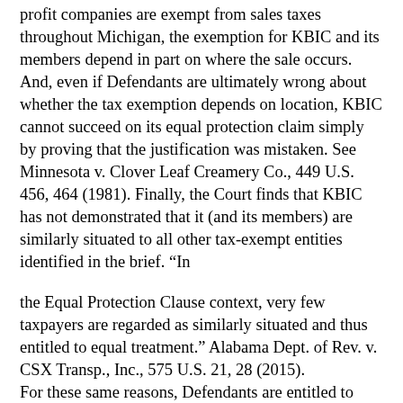profit companies are exempt from sales taxes throughout Michigan, the exemption for KBIC and its members depend in part on where the sale occurs. And, even if Defendants are ultimately wrong about whether the tax exemption depends on location, KBIC cannot succeed on its equal protection claim simply by proving that the justification was mistaken. See Minnesota v. Clover Leaf Creamery Co., 449 U.S. 456, 464 (1981). Finally, the Court finds that KBIC has not demonstrated that it (and its members) are similarly situated to all other tax-exempt entities identified in the brief. “In
the Equal Protection Clause context, very few taxpayers are regarded as similarly situated and thus entitled to equal treatment.” Alabama Dept. of Rev. v. CSX Transp., Inc., 575 U.S. 21, 28 (2015). For these same reasons, Defendants are entitled to summary judgment on KBIC’s Equal Protection claim. The process for exemptions and refunds is not based on race. The process for obtaining exemptions and refunds has a rational basis.